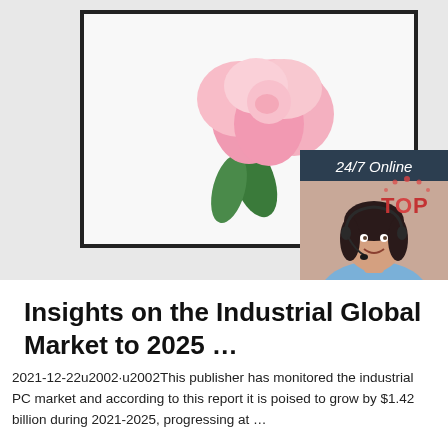[Figure (photo): Monitor displaying pink peony flowers against white/grey background, with a customer service chat widget on the right showing a smiling woman with headset, '24/7 Online' header, 'Click here for free chat!' text, and an orange 'QUOTATION' button]
Insights on the Industrial Global Market to 2025 ...
2021-12-22u2002·u2002This publisher has monitored the industrial PC market and according to this report it is poised to grow by $1.42 billion during 2021-2025, progressing at …